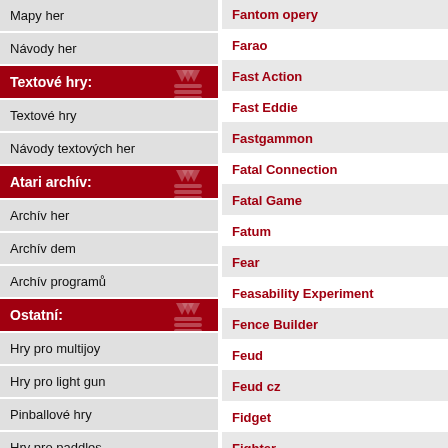Mapy her
Návody her
Textové hry:
Textové hry
Návody textových her
Atari archív:
Archív her
Archív dem
Archív programů
Ostatní:
Hry pro multijoy
Hry pro light gun
Pinballové hry
Hry pro paddles
Cheatované hry
Fantom opery
Farao
Fast Action
Fast Eddie
Fastgammon
Fatal Connection
Fatal Game
Fatum
Fear
Feasability Experiment
Fence Builder
Feud
Feud cz
Fidget
Fighter
Fighter Pilot